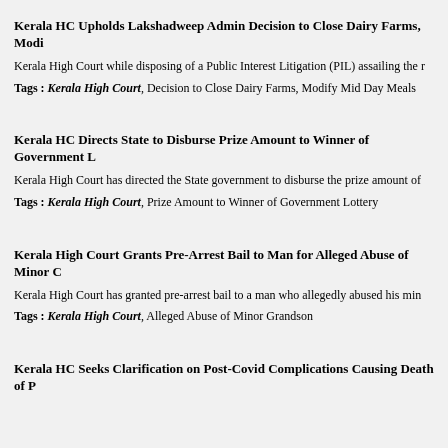Kerala HC Upholds Lakshadweep Admin Decision to Close Dairy Farms, Modif...
Kerala High Court while disposing of a Public Interest Litigation (PIL) assailing the ...
Tags : Kerala High Court, Decision to Close Dairy Farms, Modify Mid Day Meals...
Kerala HC Directs State to Disburse Prize Amount to Winner of Government Lo...
Kerala High Court has directed the State government to disburse the prize amount of...
Tags : Kerala High Court, Prize Amount to Winner of Government Lottery
Kerala High Court Grants Pre-Arrest Bail to Man for Alleged Abuse of Minor C...
Kerala High Court has granted pre-arrest bail to a man who allegedly abused his min...
Tags : Kerala High Court, Alleged Abuse of Minor Grandson
Kerala HC Seeks Clarification on Post-Covid Complications Causing Death of P...